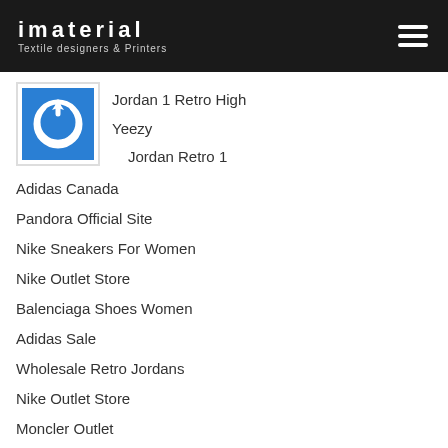imaterial – Textile designers & Printers
[Figure (logo): Blue square icon with white power/refresh symbol]
Jordan 1 Retro High
Yeezy
Jordan Retro 1
Adidas Canada
Pandora Official Site
Nike Sneakers For Women
Nike Outlet Store
Balenciaga Shoes Women
Adidas Sale
Wholesale Retro Jordans
Nike Outlet Store
Moncler Outlet
Cheap Moncler Jackets
Moncler Outlet
Nike Air Jordan 1 Retro